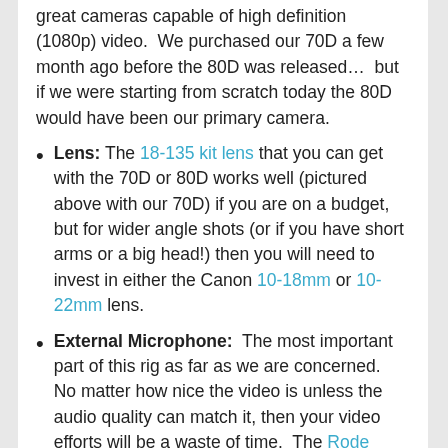great cameras capable of high definition (1080p) video. We purchased our 70D a few month ago before the 80D was released… but if we were starting from scratch today the 80D would have been our primary camera.
Lens: The 18-135 kit lens that you can get with the 70D or 80D works well (pictured above with our 70D) if you are on a budget, but for wider angle shots (or if you have short arms or a big head!) then you will need to invest in either the Canon 10-18mm or 10-22mm lens.
External Microphone: The most important part of this rig as far as we are concerned. No matter how nice the video is unless the audio quality can match it, then your video efforts will be a waste of time. The Rode VideoPro with Rycote Shockmount attaches using the hot shoe on top of our Canon 70D DSLR and connects using the external microphone port… and gives clear audio for when you are